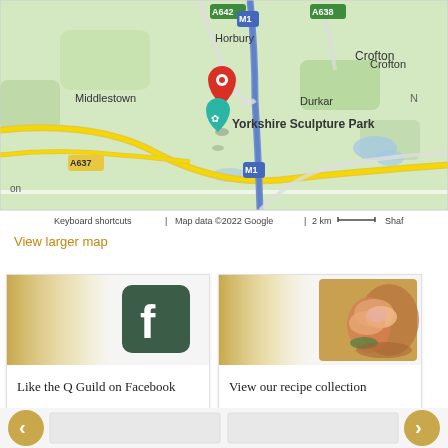[Figure (map): Google Map showing Yorkshire Sculpture Park area near Horbury, Middlestown, Durkar, Crofton and Royston. Red location pin marker visible. Road labels include A637, A638, A642, M1. Teal map pin labeled 'Yorkshire Sculpture Park'. Map attribution: Keyboard shortcuts | Map data ©2022 Google | 2 km scale bar | Shaf...]
View larger map
[Figure (screenshot): Card with Facebook logo icon (dark green square with white 'f') on gold gradient background. Text below: Like the Q Guild on Facebook]
[Figure (photo): Card with image of sliced roast meat (pork/beef joint) on gold gradient background. Text below: View our recipe collection]
[Figure (other): Bottom strip with gold circular left arrow button and right arrow button, and partial preview cards below]